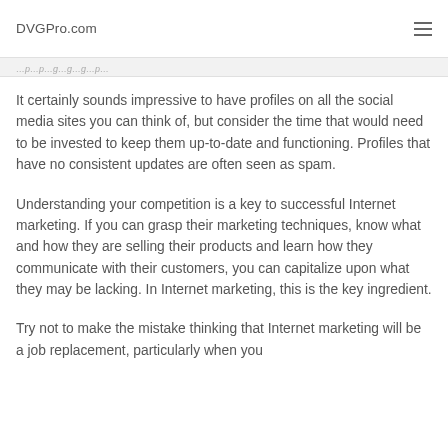DVGPro.com
It certainly sounds impressive to have profiles on all the social media sites you can think of, but consider the time that would need to be invested to keep them up-to-date and functioning. Profiles that have no consistent updates are often seen as spam.
Understanding your competition is a key to successful Internet marketing. If you can grasp their marketing techniques, know what and how they are selling their products and learn how they communicate with their customers, you can capitalize upon what they may be lacking. In Internet marketing, this is the key ingredient.
Try not to make the mistake thinking that Internet marketing will be a job replacement, particularly when you